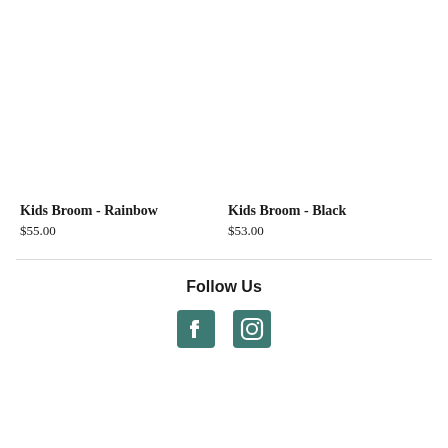Kids Broom - Rainbow
$55.00
Kids Broom - Black
$53.00
Follow Us
[Figure (logo): Facebook icon and Instagram icon social media logos]